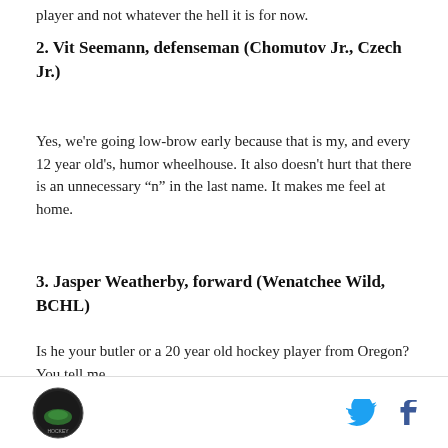player and not whatever the hell it is for now.
2. Vit Seemann, defenseman (Chomutov Jr., Czech Jr.)
Yes, we're going low-brow early because that is my, and every 12 year old's, humor wheelhouse. It also doesn't hurt that there is an unnecessary “n” in the last name. It makes me feel at home.
3. Jasper Weatherby, forward (Wenatchee Wild, BCHL)
Is he your butler or a 20 year old hockey player from Oregon? You tell me.
Logo and social icons